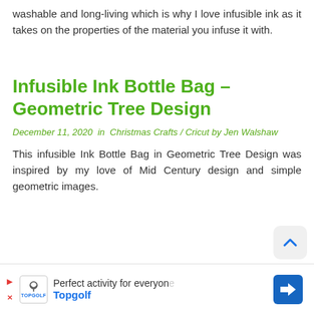washable and long-living which is why I love infusible ink as it takes on the properties of the material you infuse it with.
Infusible Ink Bottle Bag – Geometric Tree Design
December 11, 2020  in  Christmas Crafts / Cricut  by  Jen Walshaw
This infusible Ink Bottle Bag in Geometric Tree Design was inspired by my love of Mid Century design and simple geometric images.
[Figure (other): Advertisement banner for Topgolf: 'Perfect activity for everyone' with Topgolf logo and blue navigation arrow icon]